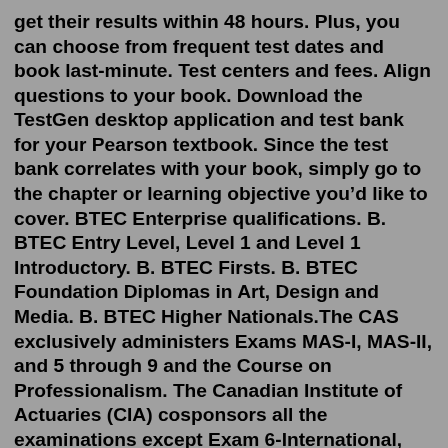get their results within 48 hours. Plus, you can choose from frequent test dates and book last-minute. Test centers and fees. Align questions to your book. Download the TestGen desktop application and test bank for your Pearson textbook. Since the test bank correlates with your book, simply go to the chapter or learning objective you'd like to cover. BTEC Enterprise qualifications. B. BTEC Entry Level, Level 1 and Level 1 Introductory. B. BTEC Firsts. B. BTEC Foundation Diplomas in Art, Design and Media. B. BTEC Higher Nationals.The CAS exclusively administers Exams MAS-I, MAS-II, and 5 through 9 and the Course on Professionalism. The Canadian Institute of Actuaries (CIA) cosponsors all the examinations except Exam 6-International, Exam 6-Taipei and Exam 6-United States. The CAS-administered examinations utilize computer-based testing (CBT) in partnership with Pearson ... Our easy-to-use past paper search gives you instant access to a large library of past exam papers and mark schemes. The instantly available past papers and mark